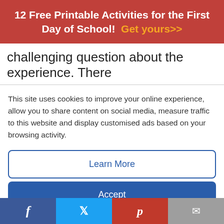12 Free Printable Activities for the First Day of School! Get yours>>
challenging question about the experience. There
This site uses cookies to improve your online experience, allow you to share content on social media, measure traffic to this website and display customised ads based on your browsing activity.
Learn More
Accept
2. Look for alternative explanations
Are there any other ways that I could look at this situation?
f  [Twitter bird]  p  [envelope]